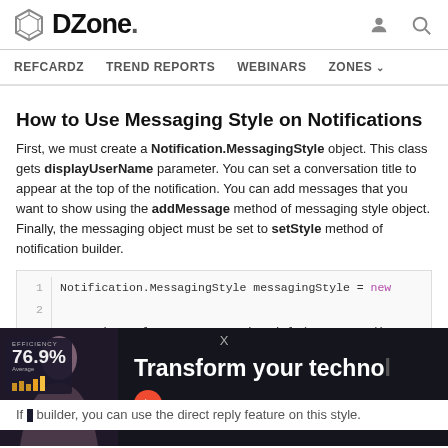DZone. REFCARDZ TREND REPORTS WEBINARS ZONES
How to Use Messaging Style on Notifications
First, we must create a Notification.MessagingStyle object. This class gets displayUserName parameter. You can set a conversation title to appear at the top of the notification. You can add messages that you want to show using the addMessage method of messaging style object. Finally, the messaging object must be set to setStyle method of notification builder.
[Figure (screenshot): Code block showing Java code: line 1: Notification.MessagingStyle messagingStyle = new, line 2: (empty), line 3: messagingStyle.setConversationTitle(messageBodies, line 4: (partial)]
[Figure (photo): Pluralsight advertisement overlay showing a woman, efficiency stats 76.9%, bar chart, and text 'Transform your techno...' with Pluralsight logo]
If ... builder, you can use the direct reply feature on this style.